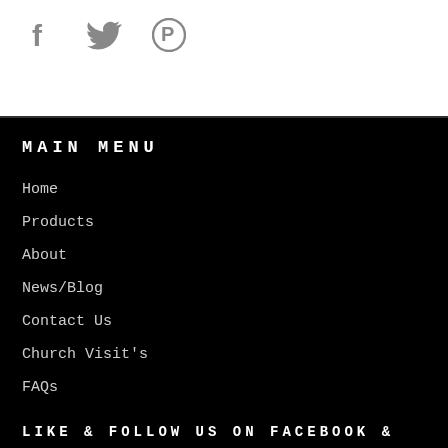[Figure (infographic): Social media icons: Facebook (f), Twitter (bird), Pinterest (P) in gray on white background]
MAIN MENU
Home
Products
About
News/Blog
Contact Us
Church Visit's
FAQs
LIKE & FOLLOW US ON FACEBOOK &